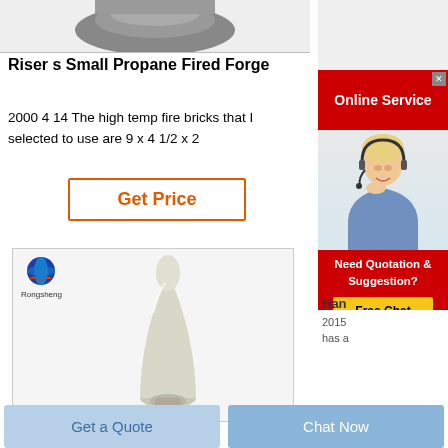[Figure (photo): Top partial view of a dark metallic object (forge/riser) cropped at top]
Riser s Small Propane Fired Forge
2000 4 14 The high temp fire bricks that I selected to use are 9 x 4 1/2 x 2
Get Price
[Figure (photo): White powder shaped in a conical/bullet form on a stand, Rongsheng branded product photo]
[Figure (screenshot): Online Service banner ad with customer service representative, Need Quotation & Suggestion? Free Chat button]
Han
2015
has a
Get a Quote
Chat Now